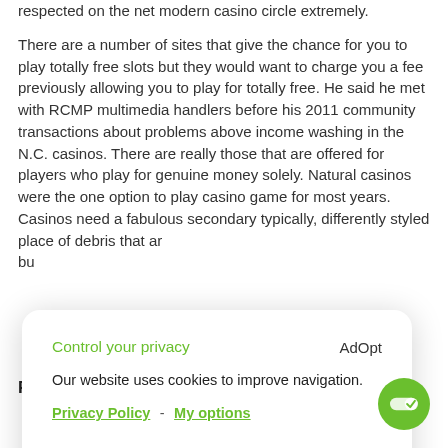respected on the net modern casino circle extremely.
There are a number of sites that give the chance for you to play totally free slots but they would want to charge you a fee previously allowing you to play for totally free. He said he met with RCMP multimedia handlers before his 2011 community transactions about problems above income washing in the N.C. casinos. There are really those that are offered for players who play for genuine money solely. Natural casinos were the one option to play casino game for most years. Casinos need a fabulous secondary typically, differently styled place of debris that ar... bu...
[Figure (screenshot): Cookie consent modal overlay with title 'Control your privacy', AdOpt link, cookie notice text, Privacy Policy and My options links, DO NOT SELL button, and green ACCEPT button]
Related posts